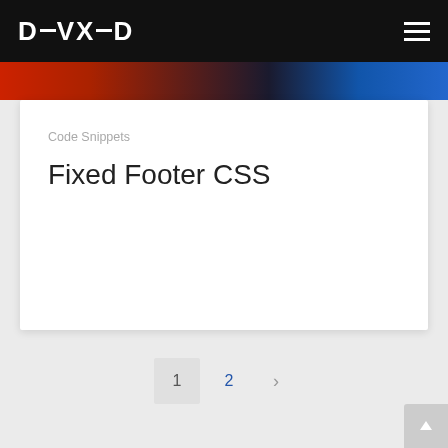DEVXED
Code Snippets
Fixed Footer CSS
1  2  ›